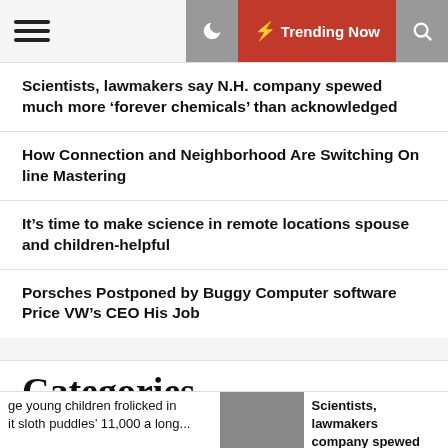Trending Now
Scientists, lawmakers say N.H. company spewed much more ‘forever chemicals’ than acknowledged
How Connection and Neighborhood Are Switching Online Mastering
It’s time to make science in remote locations spouse and children-helpful
Porsches Postponed by Buggy Computer software Price VW’s CEO His Job
Categories
ge young children frolicked in it sloth puddles’ 11,000 a long...
Scientists, lawmakers company spewed much